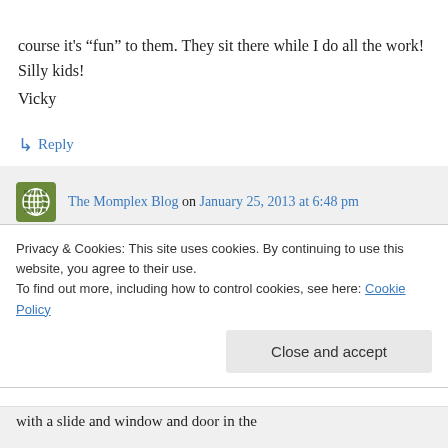course it's “fun” to them. They sit there while I do all the work! Silly kids!
Vicky
↵ Reply
The Momplex Blog on January 25, 2013 at 6:48 pm
Oh, I remember seeing one of those kits and thinking it would be perfect! And then I
Privacy & Cookies: This site uses cookies. By continuing to use this website, you agree to their use.
To find out more, including how to control cookies, see here: Cookie Policy
Close and accept
with a slide and window and door in the